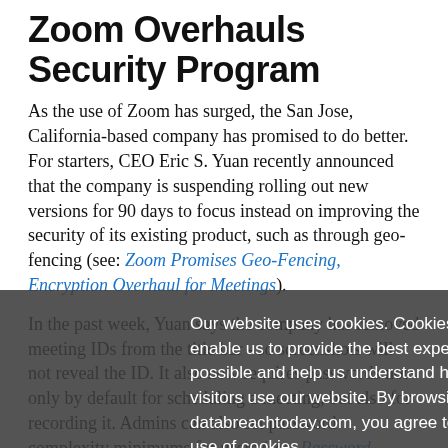Zoom Overhauls Security Program
As the use of Zoom has surged, the San Jose, California-based company has promised to do better. For starters, CEO Eric S. Yuan recently announced that the company is suspending rolling out new versions for 90 days to focus instead on improving the security of its existing product, such as through geo-fencing (see: Zoom Promises Geo-Fencing, Encryption Overhaul for Meetings).
In the past week, Yuan says the company has removed meeting IDs from the title bar - so screenshots will not reveal the ID. It also now requires passwords not only by default for scheduling a meeting, but also for recording it. Admins can also set password complexity minimums for users (see: Password Follies: Zoom Edition).
On Monday, Zoom's CTO Brendan Ittelson announced that starting this Saturday, all paid customers can also opt into
Our website uses cookies. Cookies enable us to provide the best experience possible and help us understand how visitors use our website. By browsing databreachtoday.com, you agree to our use of cookies.